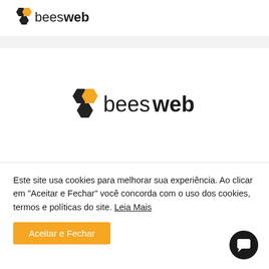[Figure (logo): beesweb logo in header — hexagon icon with one gold cell and two dark cells, followed by text 'bees' in regular weight and 'web' in bold]
[Figure (logo): beesweb logo centered on page — larger version of same hexagon icon with gold and dark cells, followed by 'bees' regular and 'web' bold text]
Este site usa cookies para melhorar sua experiência. Ao clicar em "Aceitar e Fechar" você concorda com o uso dos cookies, termos e políticas do site. Leia Mais
Aceitar e Fechar